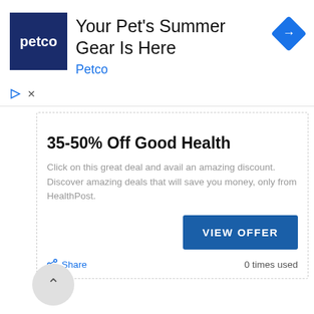[Figure (screenshot): Petco advertisement banner with logo, title 'Your Pet's Summer Gear Is Here', brand name 'Petco', and a blue diamond navigation icon]
HealthPost Deals · 20/06/2022
35-50% Off Good Health
Click on this great deal and avail an amazing discount. Discover amazing deals that will save you money, only from HealthPost.
VIEW OFFER
Share
0 times used
[Figure (screenshot): HealthPost product card with blue 'Offer' ribbon in top-right corner and 'HealthP' text logo visible]